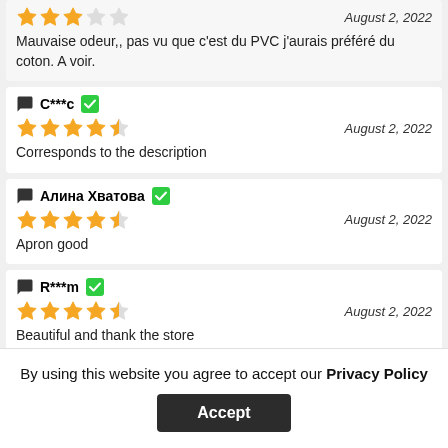Mauvaise odeur,, pas vu que c'est du PVC j'aurais préféré du coton. A voir.
C***c — August 2, 2022 — Corresponds to the description
Алина Хватова — August 2, 2022 — Apron good
R***m — August 2, 2022 — Beautiful and thank the store
By using this website you agree to accept our Privacy Policy